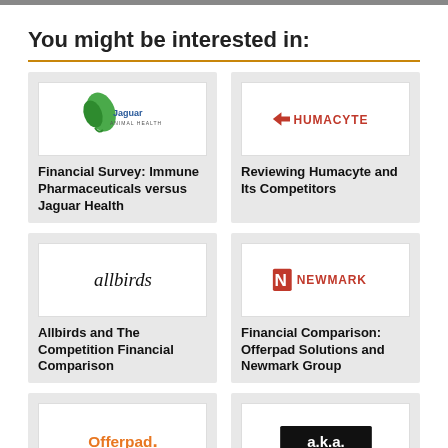You might be interested in:
[Figure (logo): Jaguar Animal Health logo — green leaf with 'Jaguar Animal Health' text]
Financial Survey: Immune Pharmaceuticals versus Jaguar Health
[Figure (logo): Humacyte logo — red text 'HUMACYTE' with arrow icon]
Reviewing Humacyte and Its Competitors
[Figure (logo): Allbirds logo — cursive black text 'allbirds']
Allbirds and The Competition Financial Comparison
[Figure (logo): Newmark logo — red 'N' icon with 'NEWMARK' text in red]
Financial Comparison: Offerpad Solutions and Newmark Group
[Figure (logo): Offerpad logo — orange 'Offerpad.' text with dot]
Head To Head...
[Figure (logo): a.k.a. logo — white text on black background]
An Executive The...